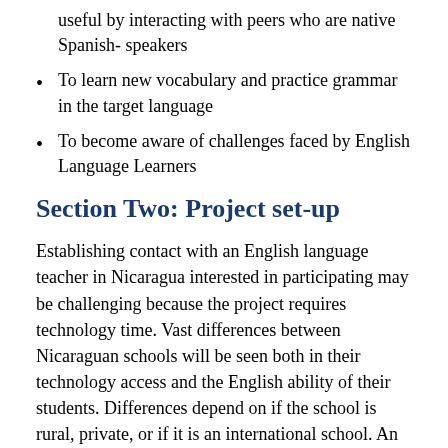useful by interacting with peers who are native Spanish- speakers
To learn new vocabulary and practice grammar in the target language
To become aware of challenges faced by English Language Learners
Section Two: Project set-up
Establishing contact with an English language teacher in Nicaragua interested in participating may be challenging because the project requires technology time. Vast differences between Nicaraguan schools will be seen both in their technology access and the English ability of their students. Differences depend on if the school is rural, private, or if it is an international school. An international school may seem like a US school online but have mostly students native to the Nicaragua. Websites can also be a way of showing